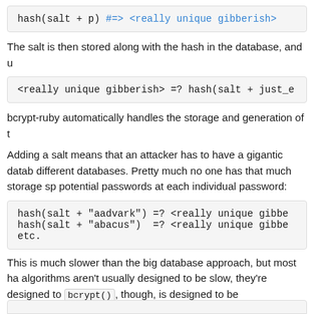[Figure (other): Code block showing: hash(salt + p) #=> <really unique gibberish>]
The salt is then stored along with the hash in the database, and u
[Figure (other): Code block showing: <really unique gibberish> =? hash(salt + just_e]
bcrypt-ruby automatically handles the storage and generation of t
Adding a salt means that an attacker has to have a gigantic datab different databases. Pretty much no one has that much storage sp potential passwords at each individual password:
[Figure (other): Code block showing: hash(salt + "aadvark") =? <really unique gibbe
hash(salt + "abacus")  =? <really unique gibbe
etc.]
This is much slower than the big database approach, but most ha algorithms aren't usually designed to be slow, they're designed to bcrypt(), though, is designed to be computationally expensive
[Figure (other): Partial code block at bottom of page]